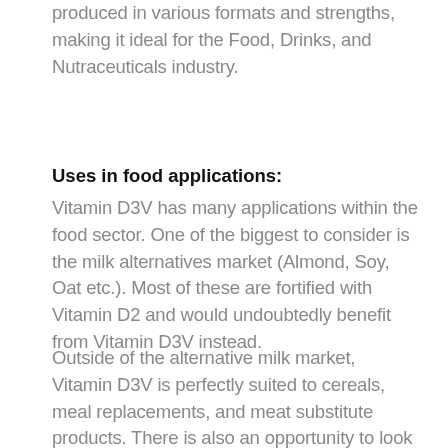Vitamin D3V is suitable for everyone and is produced in various formats and strengths, making it ideal for the Food, Drinks, and Nutraceuticals industry.
Uses in food applications:
Vitamin D3V has many applications within the food sector. One of the biggest to consider is the milk alternatives market (Almond, Soy, Oat etc.). Most of these are fortified with Vitamin D2 and would undoubtedly benefit from Vitamin D3V instead.
Outside of the alternative milk market, Vitamin D3V is perfectly suited to cereals, meal replacements, and meat substitute products. There is also an opportunity to look at how